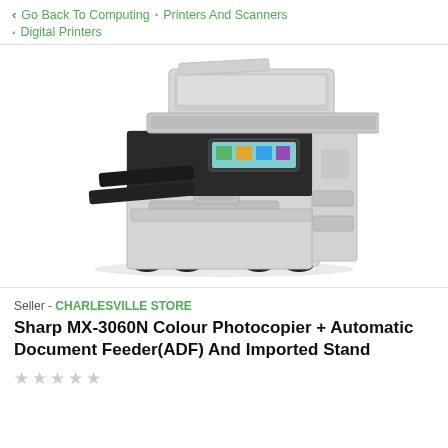Go Back To Computing | Printers And Scanners | Digital Printers
[Figure (photo): Sharp MX-3060N colour photocopier/multifunction printer with automatic document feeder on top, output tray, control panel with touchscreen, and paper trays at bottom with stand]
Seller - CHARLESVILLE STORE
Sharp MX-3060N Colour Photocopier + Automatic Document Feeder(ADF) And Imported Stand
★★★★★ (empty stars rating)